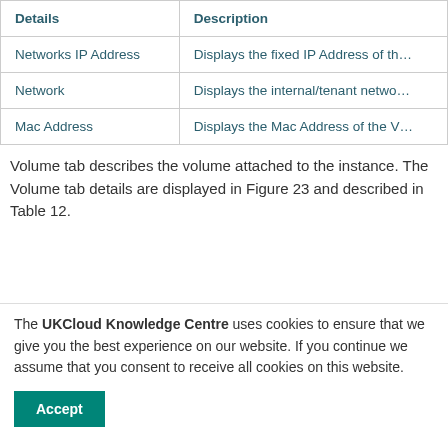| Details | Description |
| --- | --- |
| Networks IP Address | Displays the fixed IP Address of th… |
| Network | Displays the internal/tenant netwo… |
| Mac Address | Displays the Mac Address of the V… |
Volume tab describes the volume attached to the instance. The Volume tab details are displayed in Figure 23 and described in Table 12.
[Figure (screenshot): Screenshot of the VMs interface showing the Volume tab with columns: Name, Type, Size, Mount Point, Restore Run. A row shows: bqub-m1, None, None, None, 1.0 GB.]
The UKCloud Knowledge Centre uses cookies to ensure that we give you the best experience on our website. If you continue we assume that you consent to receive all cookies on this website.